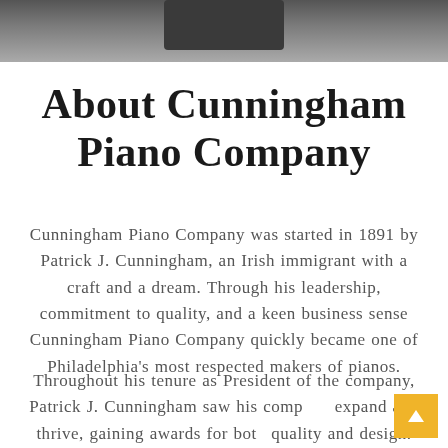[Figure (photo): A dark grayscale photo strip at the top of the page, appearing to show a piano or furniture object against a gray background.]
About Cunningham Piano Company
Cunningham Piano Company was started in 1891 by Patrick J. Cunningham, an Irish immigrant with a craft and a dream. Through his leadership, commitment to quality, and a keen business sense Cunningham Piano Company quickly became one of Philadelphia's most respected makers of pianos.
Throughout his tenure as President of the company, Patrick J. Cunningham saw his company expand and thrive, gaining awards for both quality and design.